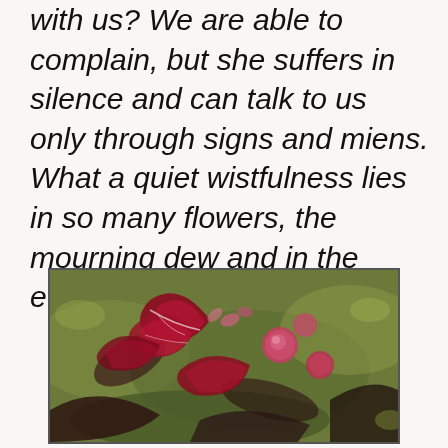with us? We are able to complain, but she suffers in silence and can talk to us only through signs and miens. What a quiet wistfulness lies in so many flowers, the mourning dew and in the evening's fading colors.
[Figure (photo): Close-up photograph of wilting or dried red and pink flowers with mottled foliage on a mossy or leafy ground surface]